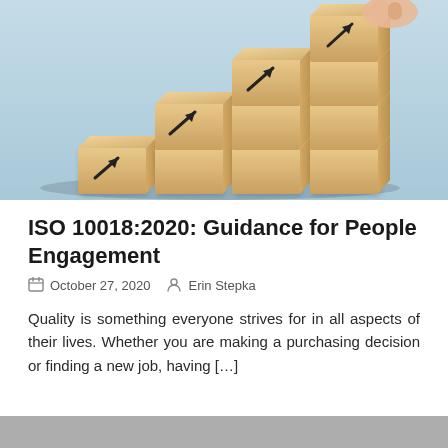[Figure (photo): A hand placing wooden blocks in a staircase/ascending pattern, each block has an upward-pointing arrow drawn on it. Light blue background. Represents growth or progress.]
ISO 10018:2020: Guidance for People Engagement
October 27, 2020   Erin Stepka
Quality is something everyone strives for in all aspects of their lives. Whether you are making a purchasing decision or finding a new job, having […]